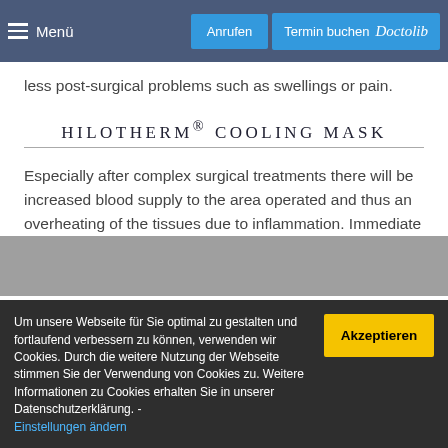≡ Menü   Anrufen   Termin buchen  Doctolib
less post-surgical problems such as swellings or pain.
HILOTHERM® COOLING MASK
Especially after complex surgical treatments there will be increased blood supply to the area operated and thus an overheating of the tissues due to inflammation. Immediate
Um unsere Webseite für Sie optimal zu gestalten und fortlaufend verbessern zu können, verwenden wir Cookies. Durch die weitere Nutzung der Webseite stimmen Sie der Verwendung von Cookies zu. Weitere Informationen zu Cookies erhalten Sie in unserer Datenschutzerklärung. - Einstellungen ändern